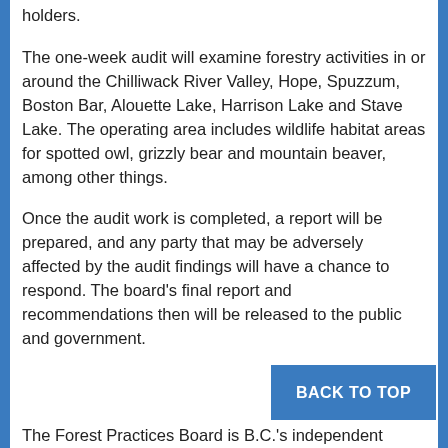holders.
The one-week audit will examine forestry activities in or around the Chilliwack River Valley, Hope, Spuzzum, Boston Bar, Alouette Lake, Harrison Lake and Stave Lake. The operating area includes wildlife habitat areas for spotted owl, grizzly bear and mountain beaver, among other things.
Once the audit work is completed, a report will be prepared, and any party that may be adversely affected by the audit findings will have a chance to respond. The board’s final report and recommendations then will be released to the public and government.
The Forest Practices Board is B.C.’s independent